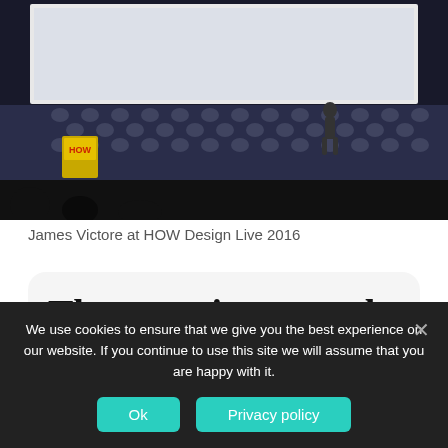[Figure (photo): James Victore standing on a dark stage with a large screen behind him and a HOW podium to the left, at HOW Design Live 2016]
James Victore at HOW Design Live 2016
The experience made me reevaluate the P...
We use cookies to ensure that we give you the best experience on our website. If you continue to use this site we will assume that you are happy with it.
Ok
Privacy policy